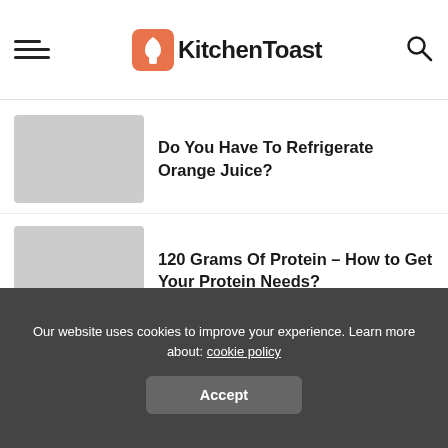KitchenToast
Do You Have To Refrigerate Orange Juice?
120 Grams Of Protein – How to Get Your Protein Needs?
How Much Dried Minced Onion Equals One Onion?
Our website uses cookies to improve your experience. Learn more about: cookie policy
Accept